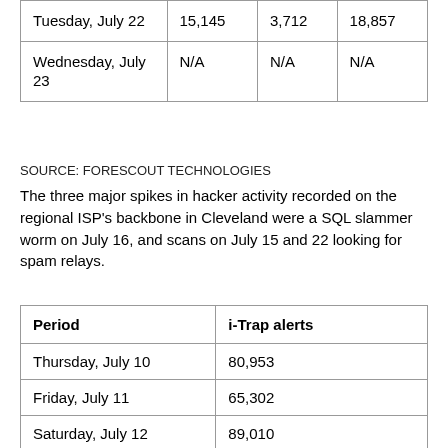|  |  |  |  |
| --- | --- | --- | --- |
| Tuesday, July 22 | 15,145 | 3,712 | 18,857 |
| Wednesday, July 23 | N/A | N/A | N/A |
SOURCE: FORESCOUT TECHNOLOGIES
The three major spikes in hacker activity recorded on the regional ISP's backbone in Cleveland were a SQL slammer worm on July 16, and scans on July 15 and 22 looking for spam relays.
.
| Period | i-Trap alerts |
| --- | --- |
| Thursday, July 10 | 80,953 |
| Friday, July 11 | 65,302 |
| Saturday, July 12 | 89,010 |
| Sunday, July 13 | 65,689 |